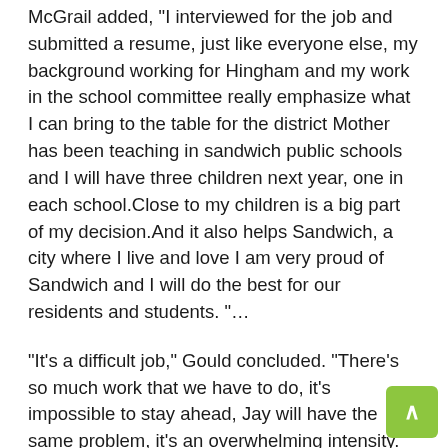McGrail added, "I interviewed for the job and submitted a resume, just like everyone else, my background working for Hingham and my work in the school committee really emphasize what I can bring to the table for the district Mother has been teaching in sandwich public schools and I will have three children next year, one in each school.Close to my children is a big part of my decision.And it also helps Sandwich, a city where I live and love I am very proud of Sandwich and I will do the best for our residents and students. "...
"It's a difficult job," Gould concluded. "There's so much work that we have to do, it's impossible to stay ahead, Jay will have the same problem, it's an overwhelming intensity."
Stephanie Hall, president of the Sandwich School Committee, was delighted with the attitude.
"We announced the opening in February and conducted two interviews," he said. "In my opinion, I did not see any candidate coming in and taking the job, Jon even extended his time out of courtesy, meanwhile, Jay had been part of the district subcommittee and knew all his regular meetings with Jon. in the city, from the city